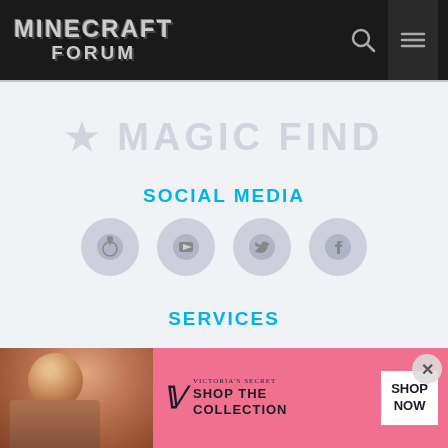MINECRAFT FORUM
[Figure (illustration): Watermark text reading 'A MAGIC FIND' with a star icon, displayed in light grey on a light grey background]
SOCIAL MEDIA
[Figure (infographic): Four social media icon circles: Reddit, YouTube, Twitter, Facebook — displayed as grey circles with dark icons]
SERVICES
[Figure (photo): Victoria's Secret advertisement banner featuring a model on the left and 'SHOP THE COLLECTION' text with a SHOP NOW button on the right]